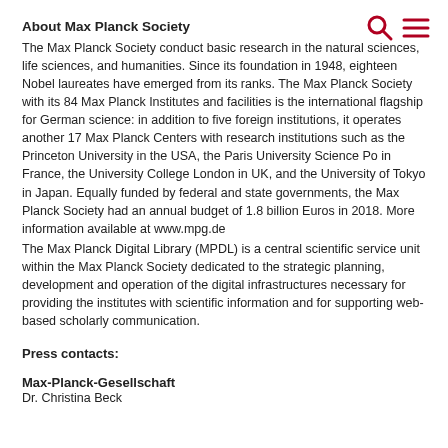About Max Planck Society
The Max Planck Society conduct basic research in the natural sciences, life sciences, and humanities. Since its foundation in 1948, eighteen Nobel laureates have emerged from its ranks. The Max Planck Society with its 84 Max Planck Institutes and facilities is the international flagship for German science: in addition to five foreign institutions, it operates another 17 Max Planck Centers with research institutions such as the Princeton University in the USA, the Paris University Science Po in France, the University College London in UK, and the University of Tokyo in Japan. Equally funded by federal and state governments, the Max Planck Society had an annual budget of 1.8 billion Euros in 2018. More information available at www.mpg.de
The Max Planck Digital Library (MPDL) is a central scientific service unit within the Max Planck Society dedicated to the strategic planning, development and operation of the digital infrastructures necessary for providing the institutes with scientific information and for supporting web-based scholarly communication.
Press contacts:
Max-Planck-Gesellschaft
Dr. Christina Beck